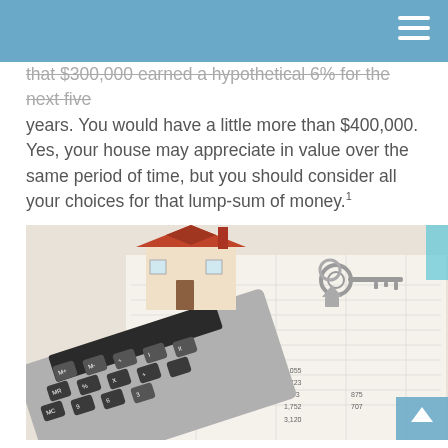that $300,000 earned a hypothetical 6% for the next five years. You would have a little more than $400,000. Yes, your house may appreciate in value over the same period of time, but you should consider all your choices for that lump-sum of money.¹
[Figure (photo): Photo of a miniature house model, house keys, and a calculator sitting on top of financial spreadsheet documents.]